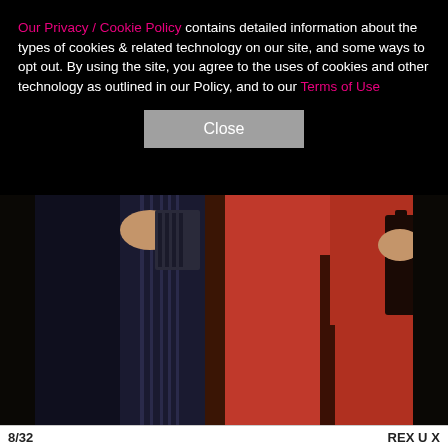Our Privacy / Cookie Policy contains detailed information about the types of cookies & related technology on our site, and some ways to opt out. By using the site, you agree to the uses of cookies and other technology as outlined in our Policy, and to our Terms of Use
Close
[Figure (photo): Close-up photo of two people from mid-torso down, one wearing dark trousers and the other wearing red wide-leg pants and carrying a dark bag]
8/32   REX U  X
[Figure (infographic): SHE Partner Network advertisement: 'We help content creators grow businesses through...' with a Learn More button]